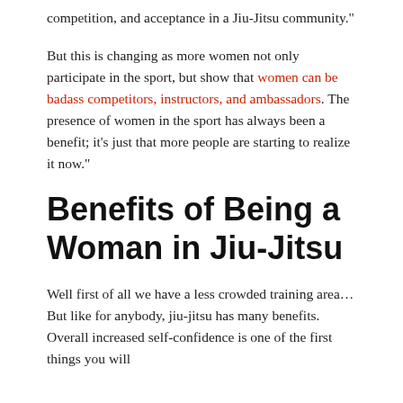competition, and acceptance in a Jiu-Jitsu community."
But this is changing as more women not only participate in the sport, but show that women can be badass competitors, instructors, and ambassadors. The presence of women in the sport has always been a benefit; it’s just that more people are starting to realize it now.”
Benefits of Being a Woman in Jiu-Jitsu
Well first of all we have a less crowded training area… But like for anybody, jiu-jitsu has many benefits. Overall increased self-confidence is one of the first things you will